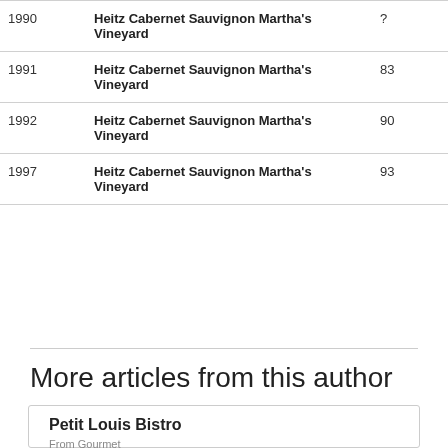| Year | Wine | Score |
| --- | --- | --- |
| 1990 | Heitz Cabernet Sauvignon Martha's Vineyard | ? |
| 1991 | Heitz Cabernet Sauvignon Martha's Vineyard | 83 |
| 1992 | Heitz Cabernet Sauvignon Martha's Vineyard | 90 |
| 1997 | Heitz Cabernet Sauvignon Martha's Vineyard | 93 |
More articles from this author
Petit Louis Bistro
From Gourmet
21 May 2017